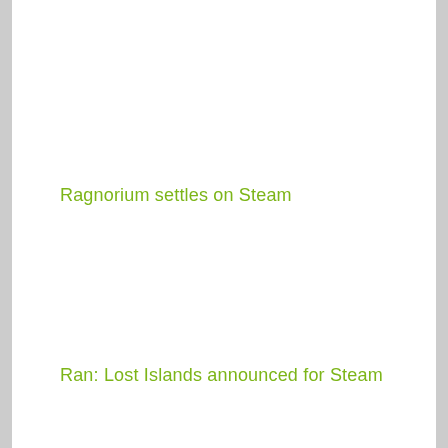Ragnorium settles on Steam
Ran: Lost Islands announced for Steam